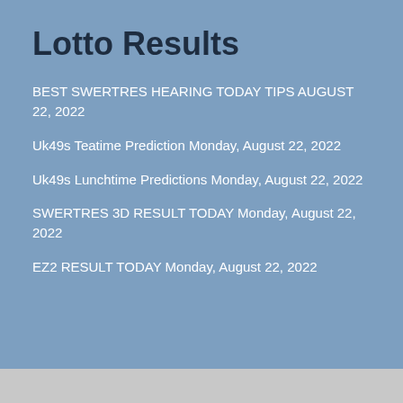Lotto Results
BEST SWERTRES HEARING TODAY TIPS AUGUST 22, 2022
Uk49s Teatime Prediction Monday, August 22, 2022
Uk49s Lunchtime Predictions Monday, August 22, 2022
SWERTRES 3D RESULT TODAY Monday, August 22, 2022
EZ2 RESULT TODAY Monday, August 22, 2022